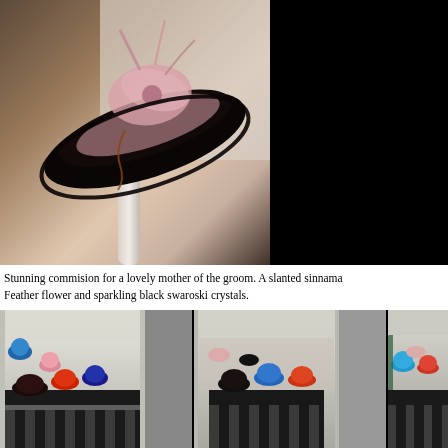[Figure (photo): A black and pink sinnamon/sinamay slanted hat fascinator with a large feather flower decoration, displayed on a white hat stand. Background is dark/neutral.]
Stunning commision for a lovely mother of the groom. A slanted sinnama Feather flower and sparkling black swaroski crystals.
December Commissions
After N.Joy.Millinery’s successes at Made in Cornwall. December became
[Figure (photo): Market stall with colorful hats displayed on mannequin heads and hat stands under a white tent. Various colored hats including blue, red, pink and black visible.]
[Figure (photo): Market stall interior with hats displayed, including blue, red and black hats on stands inside a white tent.]
[Figure (photo): Market stall with hats and accessories displayed, partially cut off on the right edge of the image.]